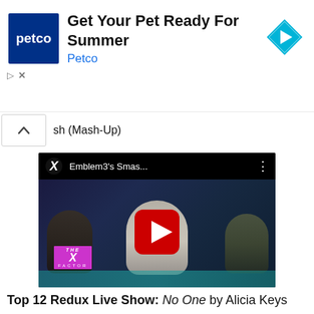[Figure (screenshot): Petco advertisement banner showing Petco logo on dark blue background, text 'Get Your Pet Ready For Summer' in bold, 'Petco' in blue, and a blue diamond-shaped navigation arrow icon on the right]
sh (Mash-Up)
[Figure (screenshot): YouTube video thumbnail showing Emblem3's Smas... performance on X Factor stage with three young male performers, YouTube play button overlay, X Factor logo in bottom left corner. Title bar shows 'Emblem3's Smas...' with X Factor logo.]
Top 12 Redux Live Show: No One by Alicia Keys
[Figure (screenshot): Bottom portion of a dark video thumbnail, partially visible]